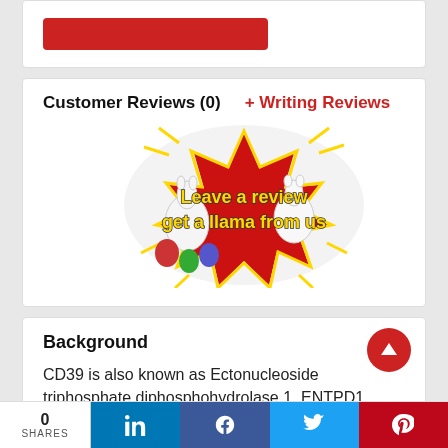[Figure (other): Partial red button at top of page]
Customer Reviews (0)
+ Writing Reviews
[Figure (illustration): Promotional image with llama toys and text 'Leave a review get a llama from us' on a red starburst background]
Background
CD39 is also known as Ectonucleoside triphosphate diphosphohydrolase 1, ENTPD1,
0 SHARES  in  f  (twitter)  (pinterest)